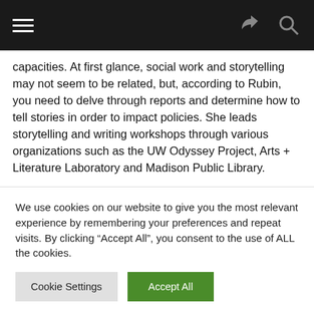Navigation bar with hamburger menu, share icon, and search icon
capacities. At first glance, social work and storytelling may not seem to be related, but, according to Rubin, you need to delve through reports and determine how to tell stories in order to impact policies. She leads storytelling and writing workshops through various organizations such as the UW Odyssey Project, Arts + Literature Laboratory and Madison Public Library.
Given this line of work, she had been listening to the storytelling podcast “The Moth” for a while, then decided to look up regional sessions. The first time she ventured to a Milwaukee performance she wasn’t chosen to participate. Her second time she fared much better, receiving the highest score for the evening with a piece she
We use cookies on our website to give you the most relevant experience by remembering your preferences and repeat visits. By clicking “Accept All”, you consent to the use of ALL the cookies.
Cookie Settings
Accept All